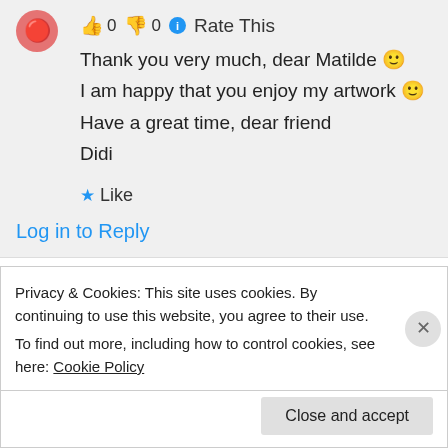👍 0 👎 0 ℹ Rate This
Thank you very much, dear Matilde 🙂
I am happy that you enjoy my artwork 🙂
Have a great time, dear friend
Didi
★ Like
Log in to Reply
Saanja2806 on 02/01/2019 at 12:22
Privacy & Cookies: This site uses cookies. By continuing to use this website, you agree to their use.
To find out more, including how to control cookies, see here: Cookie Policy
Close and accept